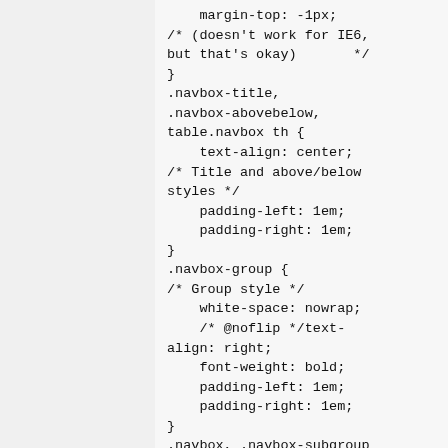margin-top: -1px;
/* (doesn't work for IE6,
but that's okay)       */
}
.navbox-title,
.navbox-abovebelow,
table.navbox th {
    text-align: center;
/* Title and above/below
styles */
    padding-left: 1em;
    padding-right: 1em;
}
.navbox-group {
/* Group style */
    white-space: nowrap;
    /* @noflip */text-align: right;
    font-weight: bold;
    padding-left: 1em;
    padding-right: 1em;
}
.navbox, .navbox-subgroup
{
    background: #fdfdfd;